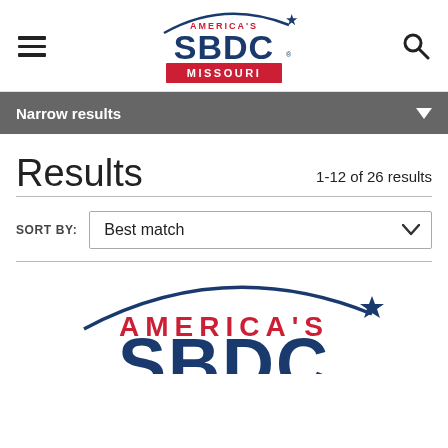[Figure (logo): America's SBDC Missouri logo in header, with hamburger menu icon on left and search icon on right]
Narrow results
Results
1-12 of 26 results
SORT BY: Best match
[Figure (logo): America's SBDC logo partial at bottom of page, showing arc and star above AMERICA'S text in red and partial SBDC in dark blue]